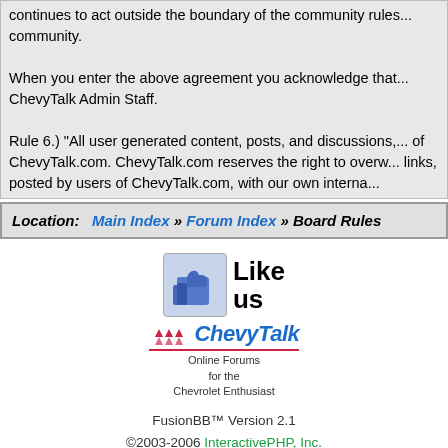continues to act outside the boundary of the community rules... community.
When you enter the above agreement you acknowledge that... ChevyTalk Admin Staff.
Rule 6.) "All user generated content, posts, and discussions,... of ChevyTalk.com. ChevyTalk.com reserves the right to overw... links, posted by users of ChevyTalk.com, with our own intern...
Location:   Main Index » Forum Index » Board Rules
[Figure (logo): Facebook like thumbs up icon with 'Like us' text and ChevyTalk logo with Online Forums for the Chevrolet Enthusiast tagline]
FusionBB™ Version 2.1 ©2003-2006 InteractivePHP, Inc. Execution time: 0.235 seconds.   Total Queries: 16   Zlib Compression is on. All times are (GMT -0800) Pacific. Current time is 08:06 PM Top